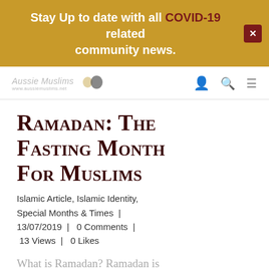Stay Up to date with all COVID-19 related community news.
[Figure (logo): Aussie Muslims logo with stylized text and Australia map icon, navigation icons]
Ramadan: The Fasting Month For Muslims
Islamic Article, Islamic Identity, Special Months & Times | 13/07/2019 | 0 Comments | 13 Views | 0 Likes
What is Ramadan? Ramadan is the fasting month for Muslims,